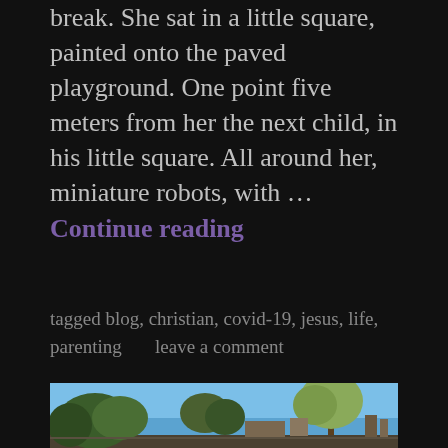break. She sat in a little square, painted onto the paved playground. One point five meters from her the next child, in his little square. All around her, miniature robots, with … Continue reading
tagged blog, christian, covid-19, jesus, life, parenting     leave a comment
[Figure (photo): Outdoor daytime photo showing trees and buildings against a clear blue sky]